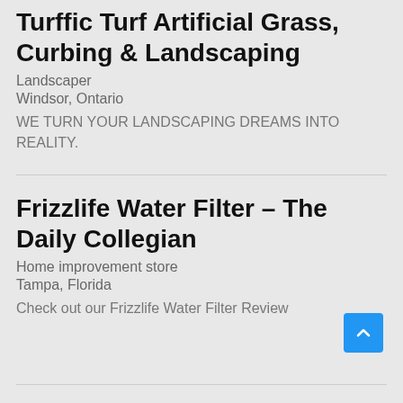Turffic Turf Artificial Grass, Curbing & Landscaping
Landscaper
Windsor, Ontario
WE TURN YOUR LANDSCAPING DREAMS INTO REALITY.
Frizzlife Water Filter – The Daily Collegian
Home improvement store
Tampa, Florida
Check out our Frizzlife Water Filter Review
Stonesmith Granite